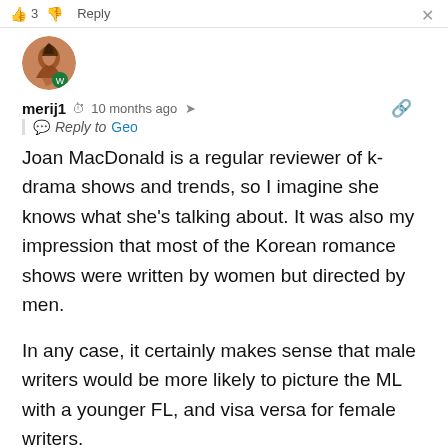👍 3 👎  Reply  ✕
[Figure (photo): Round avatar photo of user merij1, showing a person with braided hair, with a small green WordPress badge in the bottom right corner]
merij1  🕐 10 months ago  🔗
Reply to Geo
Joan MacDonald is a regular reviewer of k-drama shows and trends, so I imagine she knows what she's talking about. It was also my impression that most of the Korean romance shows were written by women but directed by men.
In any case, it certainly makes sense that male writers would be more likely to picture the ML with a younger FL, and visa versa for female writers.
My wife will only rarely warm up to a show with